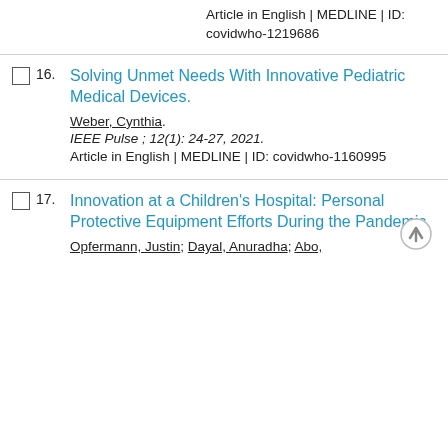Article in English | MEDLINE | ID: covidwho-1219686
16. Solving Unmet Needs With Innovative Pediatric Medical Devices. Weber, Cynthia. IEEE Pulse ; 12(1): 24-27, 2021. Article in English | MEDLINE | ID: covidwho-1160995
17. Innovation at a Children's Hospital: Personal Protective Equipment Efforts During the Pandemic. Opfermann, Justin; Dayal, Anuradha; Abo,